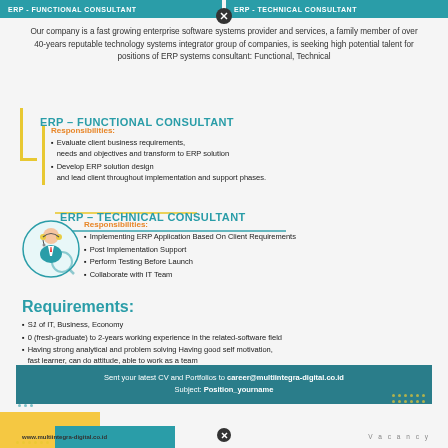ERP - FUNCTIONAL CONSULTANT | ERP - TECHNICAL CONSULTANT
Our company is a fast growing enterprise software systems provider and services, a family member of over 40-years reputable technology systems integrator group of companies, is seeking high potential talent for positions of ERP systems consultant: Functional, Technical
ERP - FUNCTIONAL CONSULTANT
Responsibilities:
Evaluate client business requirements, needs and objectives and transform to ERP solution
Develop ERP solution design and lead client throughout implementation and support phases.
ERP - TECHNICAL CONSULTANT
Responsibilities:
Implementing ERP Application Based On Client Requirements
Post Implementation Support
Perform Testing Before Launch
Collaborate with IT Team
Requirements:
S1 of IT, Business, Economy
0 (fresh-graduate) to 2-years working experience in the related-software field
Having strong analytical and problem solving Having good self motivation, fast learner, can do attitude, able to work as a team
Good communication in English both verbal & written
Sent your latest CV and Portfolios to career@multiintegra-digital.co.id Subject: Position_yourname
www.multiintegra-digital.co.id    Vacancy